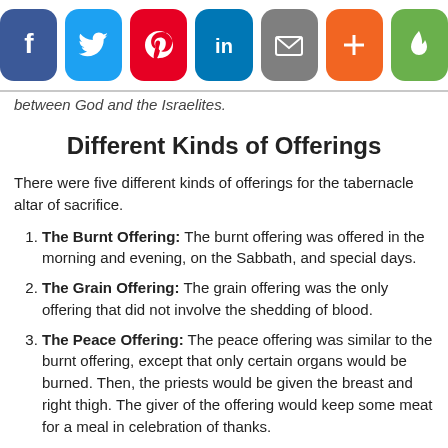[Figure (other): Social media share buttons: Facebook (blue), Twitter (light blue), Pinterest (red), LinkedIn (dark blue), Email (gray), Plus/More (orange), Flame/Fire (green)]
between God and the Israelites.
Different Kinds of Offerings
There were five different kinds of offerings for the tabernacle altar of sacrifice.
The Burnt Offering:  The burnt offering was offered in the morning and evening, on the Sabbath, and special days.
The Grain Offering:  The grain offering was the only offering that did not involve the shedding of blood.
The Peace Offering:  The peace offering was similar to the burnt offering, except that only certain organs would be burned.  Then, the priests would be given the breast and right thigh.  The giver of the offering would keep some meat for a meal in celebration of thanks.
The Sin Offering:  The sin offering was offered to make atonement for sin that had been committed.